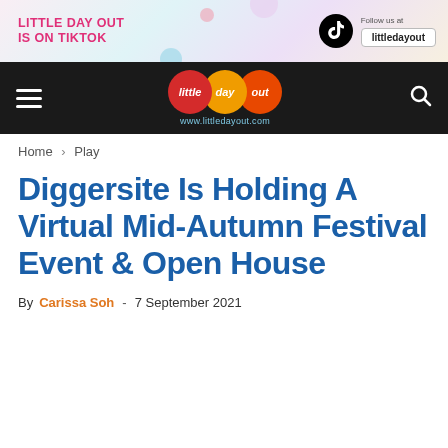[Figure (illustration): Little Day Out TikTok promotional banner ad with colorful decorative shapes, TikTok logo, and 'Follow us at littledayout' button]
[Figure (logo): Little Day Out website navigation bar with hamburger menu, circular logo with red/yellow/orange circles, and www.littledayout.com URL]
Home › Play
Diggersite Is Holding A Virtual Mid-Autumn Festival Event & Open House
By Carissa Soh - 7 September 2021